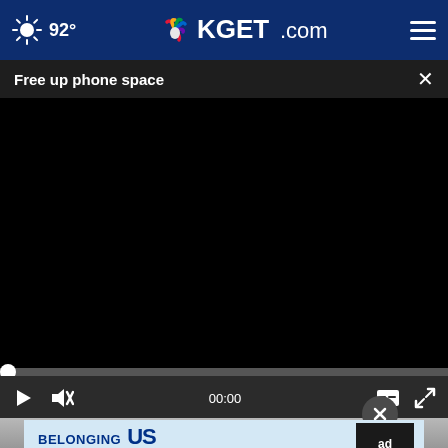92° KGET.com
Free up phone space
[Figure (screenshot): Black video player area with playback controls showing 00:00 timestamp, play button, mute button, caption button, and fullscreen button]
[Figure (photo): Partial photo of a person's face visible behind an advertisement overlay]
[Figure (other): Ad Council advertisement: BELONGING BEGINS WITH US]